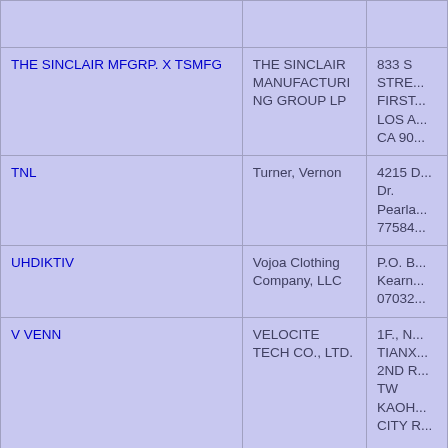| Trademark | Owner | Address |
| --- | --- | --- |
|  |  |  |
| THE SINCLAIR MFGRP. X TSMFG | THE SINCLAIR MANUFACTURING GROUP LP | 833 S STRE... FIRST... LOS A... CA 90... |
| TNL | Turner, Vernon | 4215 D... Dr. Pearla... 77584... |
| UHDIKTIV | Vojoa Clothing Company, LLC | P.O. B... Kearn... 07032... |
| V VENN | VELOCITE TECH CO., LTD. | 1F., N... TIANX... 2ND R... TW KAOH... CITY R... |